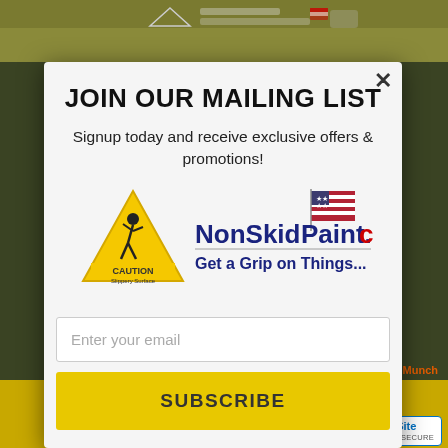[Figure (screenshot): Background showing NonSkidPaint.com website with dark overlay and partially visible page content]
JOIN OUR MAILING LIST
Signup today and receive exclusive offers & promotions!
[Figure (logo): NonSkidPaint.com logo with yellow caution triangle (slippery surface warning), American flag, and tagline 'Get a Grip on Things...']
Enter your email
SUBSCRIBE
powered by MailMunch
Subscribe
[Figure (logo): TrustedSite CERTIFIED SECURE badge]